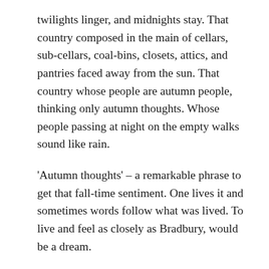twilights linger, and midnights stay. That country composed in the main of cellars, sub-cellars, coal-bins, closets, attics, and pantries faced away from the sun. That country whose people are autumn people, thinking only autumn thoughts. Whose people passing at night on the empty walks sound like rain.
'Autumn thoughts' – a remarkable phrase to get that fall-time sentiment. One lives it and sometimes words follow what was lived. To live and feel as closely as Bradbury, would be a dream.
Year-end has always been a good time to read. These last eight weeks of the year... love them for the ease and respite. A year about to get scored off. An occasion to start again – more rides, more runs,